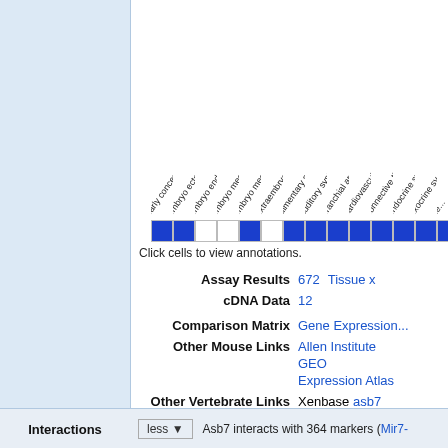[Figure (other): Gene Expression Database (GEXPdb) logo in gold oval with mouse embryo image]
[Figure (table-as-image): Heatmap matrix with column headers rotated at angle: early conceptus, embryo ectoderm, embryo endoderm, embryo mesoderm, embryo mesenchyme, extraembryonic component, alimentary system, auditory system, branchial arches, cardiovascular system, connective tissue, endocrine system, exocrine system, he(patic). Blue and white cells indicating expression presence/absence.]
Click cells to view annotations.
Assay Results 672 Tissue x
cDNA Data 12
Comparison Matrix Gene Expression
Other Mouse Links Allen Institute GEO Expression Atlas
Other Vertebrate Links Xenbase asb7 ZFIN asb7
Interactions
less ▼  Asb7 interacts with 364 markers (Mir7-